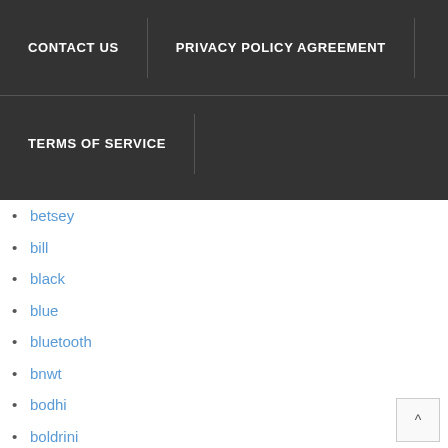CONTACT US | PRIVACY POLICY AGREEMENT | TERMS OF SERVICE
betsey
bill
black
blue
bluetooth
bnwt
bodhi
boldrini
bopai
bosca
bostanten
bottega
brahmin
brand